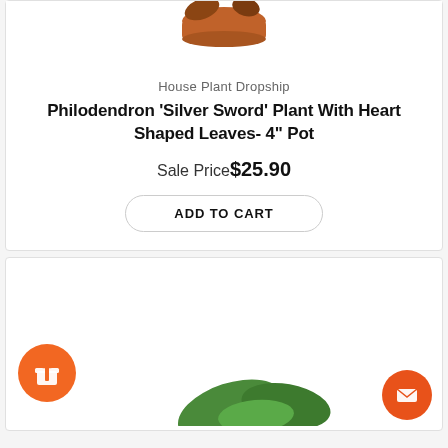[Figure (photo): Top portion of a plant in a terracotta pot, partially cropped at top]
House Plant Dropship
Philodendron 'Silver Sword' Plant With Heart Shaped Leaves- 4" Pot
Sale Price$25.90
ADD TO CART
[Figure (photo): Green plant leaves visible at bottom of second product card, with orange gift icon button on left and orange mail icon button on bottom right]